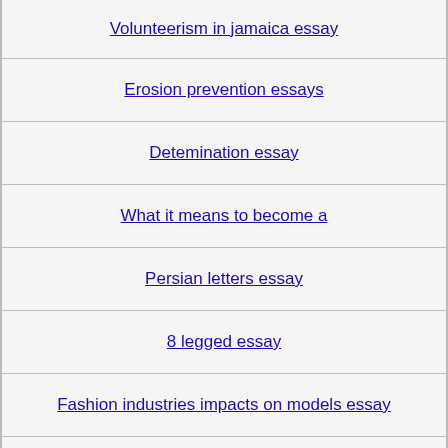Volunteerism in jamaica essay
Erosion prevention essays
Detemination essay
What it means to become a
Persian letters essay
8 legged essay
Fashion industries impacts on models essay
Critical appraisal of care of older people dementia nursing essay
Beauty of france essay
A Guide to Isaac Asimov's Essays